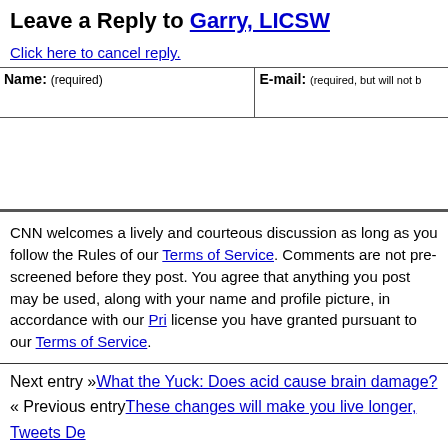Leave a Reply to Garry, LICSW
Click here to cancel reply.
| Name: (required) | E-mail: (required, but will not be published) |
| --- | --- |
|  |  |
CNN welcomes a lively and courteous discussion as long as you follow the Rules of our Terms of Service. Comments are not pre-screened before they post. You agree that anything you post may be used, along with your name and profile picture, in accordance with our Privacy Policy and the license you have granted pursuant to our Terms of Service.
Next entry »What the Yuck: Does acid cause brain damage?
« Previous entryThese changes will make you live longer, Tweets De